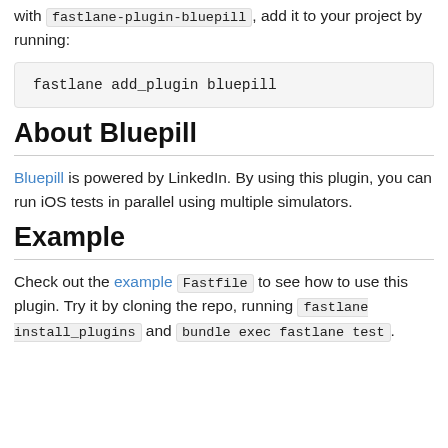with fastlane-plugin-bluepill, add it to your project by running:
fastlane add_plugin bluepill
About Bluepill
Bluepill is powered by LinkedIn. By using this plugin, you can run iOS tests in parallel using multiple simulators.
Example
Check out the example Fastfile to see how to use this plugin. Try it by cloning the repo, running fastlane install_plugins and bundle exec fastlane test.